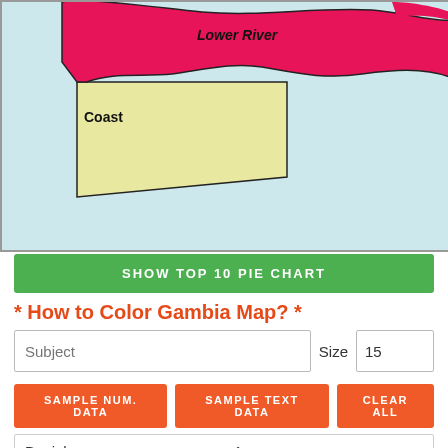[Figure (map): Partial map of Gambia showing regions including Lower River and Coast, with pink/magenta colored land areas and light yellow coastal region, on a light blue background]
SHOW TOP 10 PIE CHART
* How to Color Gambia Map? *
Subject   Size 15
SAMPLE NUM. DATA   SAMPLE TEXT DATA   CLEAR ALL
Banjul   1